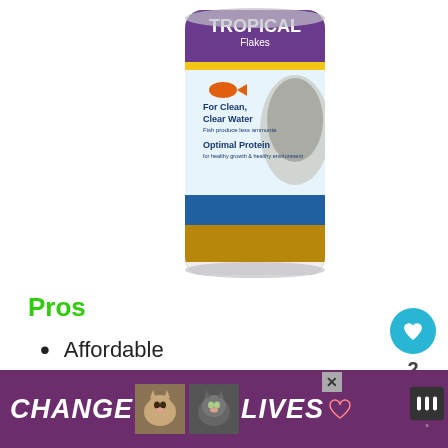[Figure (photo): A cylindrical can of Tropical Flakes fish food, showing blue/purple label with fish images, text reading 'TROPICAL Flakes', 'For Clean, Clear Water', and 'Optimal Protein']
Pros
Affordable
Complete diet
Enhances colors
Cons
[Figure (screenshot): UI element: circular cyan heart button with heart icon, number '2' below it, and a circular share button]
[Figure (screenshot): WHAT'S NEXT panel with fish thumbnail image and text '9 Ways to Lower...']
[Figure (photo): Advertisement banner reading 'CHANGE LIVES' with cat photos on dark purple background]